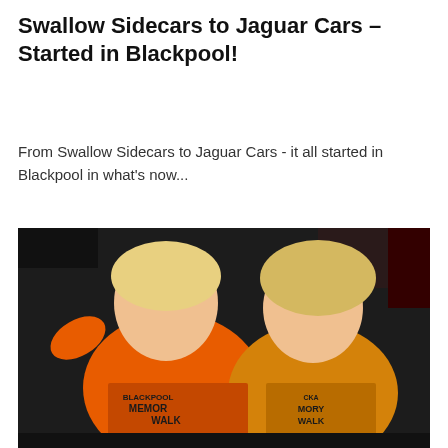Swallow Sidecars to Jaguar Cars – Started in Blackpool!
From Swallow Sidecars to Jaguar Cars - it all started in Blackpool in what's now...
[Figure (photo): Two smiling women wearing orange and yellow t-shirts printed with 'Blackpool Memory Walk', photographed at night during a charity walk event.]